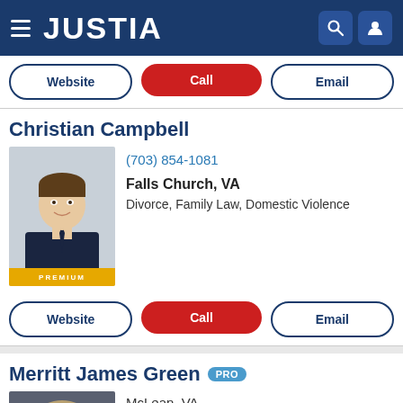JUSTIA
Website | Call | Email
Christian Campbell
[Figure (photo): Professional headshot of Christian Campbell, a man in a dark suit, smiling. PREMIUM badge at bottom.]
(703) 854-1081
Falls Church, VA
Divorce, Family Law, Domestic Violence
Website | Call | Email
Merritt James Green PRO
[Figure (photo): Professional headshot of Merritt James Green, a middle-aged man with light hair.]
McLean, VA
(703) 556-0411
Business Law, Employment Law, Divorce, Fami...